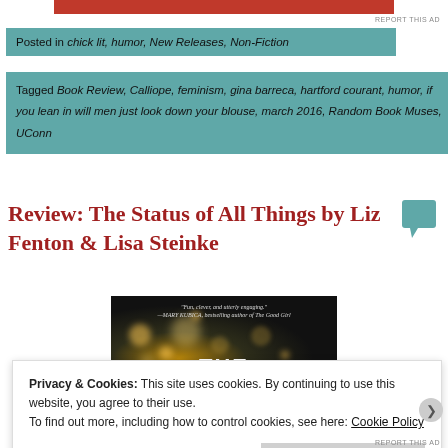[Figure (other): Red banner strip at top of page]
REPORT THIS AD
Posted in chick lit, humor, New Releases, Non-Fiction
Tagged Book Review, Calliope, feminism, gina barreca, hartford courant, humor, if you lean in will men just look down your blouse, march 2016, Random Book Muses, UConn
Review: The Status of All Things by Liz Fenton & Lisa Steinke
[Figure (photo): Book cover photo showing bokeh lights on dark background with text 'THE' visible at bottom]
Privacy & Cookies: This site uses cookies. By continuing to use this website, you agree to their use.
To find out more, including how to control cookies, see here: Cookie Policy
Close and accept
REPORT THIS AD